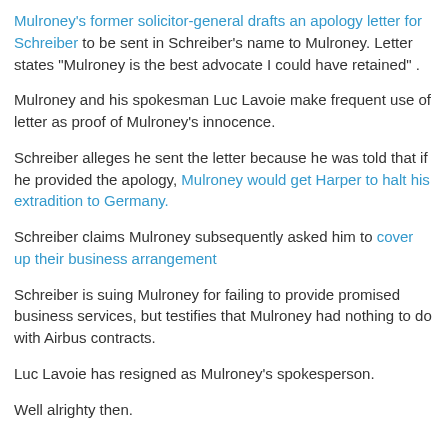Mulroney's former solicitor-general drafts an apology letter for Schreiber to be sent in Schreiber's name to Mulroney. Letter states "Mulroney is the best advocate I could have retained" .
Mulroney and his spokesman Luc Lavoie make frequent use of letter as proof of Mulroney's innocence.
Schreiber alleges he sent the letter because he was told that if he provided the apology, Mulroney would get Harper to halt his extradition to Germany.
Schreiber claims Mulroney subsequently asked him to cover up their business arrangement
Schreiber is suing Mulroney for failing to provide promised business services, but testifies that Mulroney had nothing to do with Airbus contracts.
Luc Lavoie has resigned as Mulroney's spokesperson.
Well alrighty then.